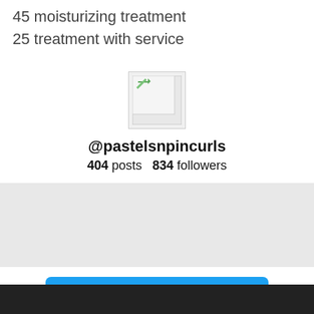45 moisturizing treatment
25 treatment with service
[Figure (other): Broken/placeholder profile image icon]
@pastelsnpincurls
404 posts  834 followers
Follow on Instagram